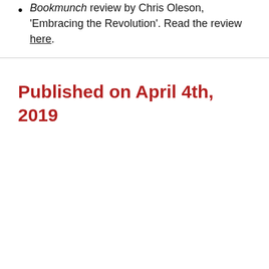Bookmunch review by Chris Oleson, 'Embracing the Revolution'. Read the review here.
Published on April 4th, 2019